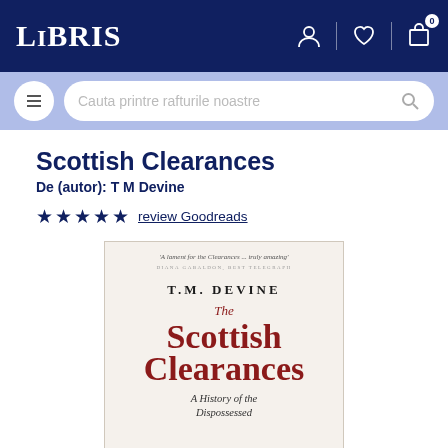LIBRIS
Scottish Clearances
De (autor): T M Devine
★★★★★ review Goodreads
[Figure (photo): Book cover of 'The Scottish Clearances' by T.M. Devine. Cream/off-white background. Quote at top: 'A lament for the Clearances ... truly amazing' - Diana Gabaldon, Best Telegraph. Author name T.M. DEVINE in black serif caps. Title 'The Scottish Clearances' in large dark red serif font. Subtitle 'A History of the Dispossessed' in black italic.]